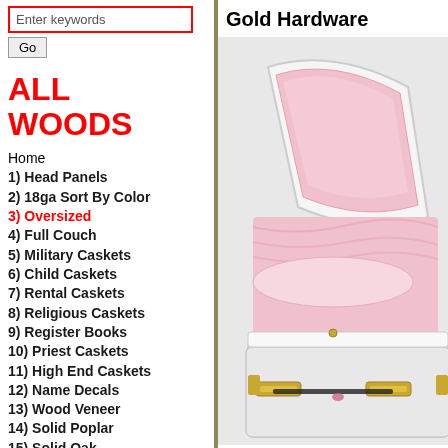Enter keywords
Go
ALL WOODS
Home
1) Head Panels
2) 18ga Sort By Color
3) Oversized
4) Full Couch
5) Military Caskets
6) Child Caskets
7) Rental Caskets
8) Religious Caskets
9) Register Books
10) Priest Caskets
11) High End Caskets
12) Name Decals
13) Wood Veneer
14) Solid Poplar
15) Solid Oak
16) Solid Mahogany
17) Solid Black Walnut
Gold Hardware
[Figure (photo): Open white casket with pink interior lining and gold hardware, lid propped open showing plush pink fabric interior]